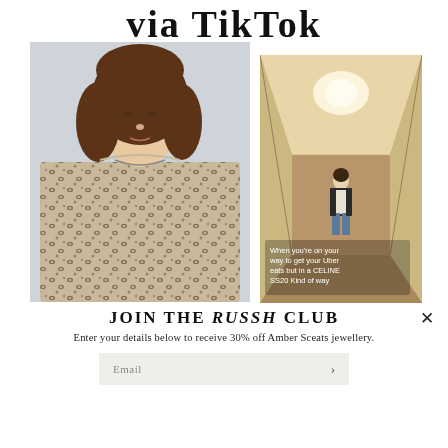via TikTok
[Figure (photo): Young person with long brown hair wearing a leopard print top, leaning against a light-colored wall, close-up portrait style photo.]
[Figure (photo): Person standing at the end of a long corridor/hallway, wearing a dark jacket and jeans. Overlay text reads: 'When you're on your way to get your Uber eats but in a CELINE SS20 Kind of way']
JOIN THE RUSSH CLUB
Enter your details below to receive 30% off Amber Sceats jewellery.
Email